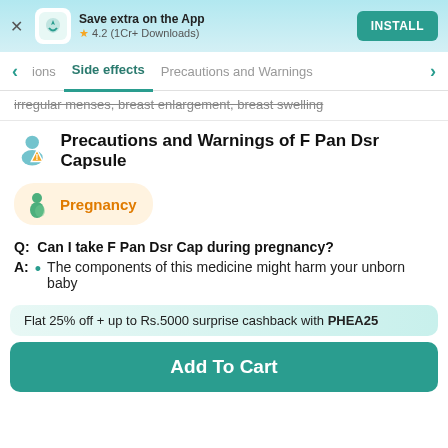[Figure (screenshot): App install banner with teal gradient background, app icon, 'Save extra on the App' text, 4.2 star rating, 1Cr+ Downloads, and INSTALL button]
ions  Side effects  Precautions and Warnings
irregular menses, breast enlargement, breast swelling
Precautions and Warnings of F Pan Dsr Capsule
Pregnancy
Q:  Can I take F Pan Dsr Cap during pregnancy?
A: • The components of this medicine might harm your unborn baby
Flat 25% off + up to Rs.5000 surprise cashback with PHEA25
Add To Cart